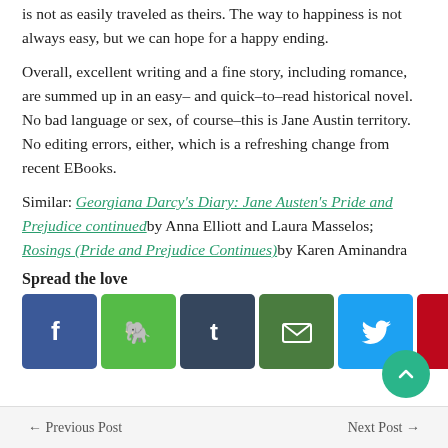is not as easily traveled as theirs. The way to happiness is not always easy, but we can hope for a happy ending.
Overall, excellent writing and a fine story, including romance, are summed up in an easy– and quick–to–read historical novel. No bad language or sex, of course–this is Jane Austin territory. No editing errors, either, which is a refreshing change from recent EBooks.
Similar: Georgiana Darcy's Diary: Jane Austen's Pride and Prejudice continued by Anna Elliott and Laura Masselos; Rosings (Pride and Prejudice Continues) by Karen Aminandra
Spread the love
[Figure (infographic): Row of 10 social media sharing icon buttons: Facebook (blue), Evernote (green), Tumblr (dark blue), Email (dark green), Twitter (light blue), Pinterest (red), Amazon (yellow), Kindle (black), Print (light grey), Share (orange)]
← Previous Post    Next Post →